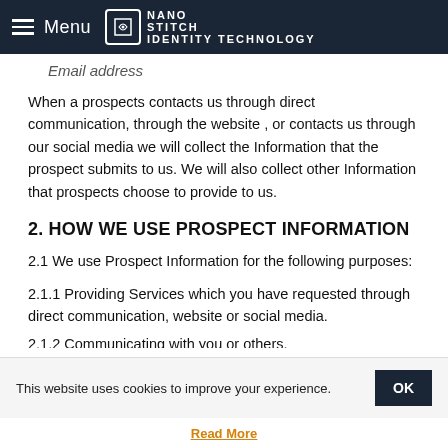Menu | NANO STITCH Identity Technology
Email address
When a prospects contacts us through direct communication, through the website , or contacts us through our social media we will collect the Information that the prospect submits to us. We will also collect other Information that prospects choose to provide to us.
2. HOW WE USE PROSPECT INFORMATION
2.1 We use Prospect Information for the following purposes:
2.1.1 Providing Services which you have requested through direct communication, website or social media.
2.1.2 Communicating with you or others.
This website uses cookies to improve your experience.
Read More